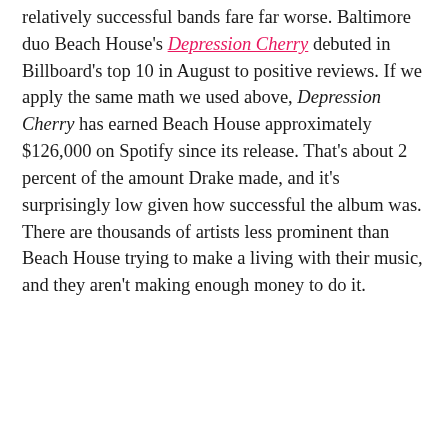relatively successful bands fare far worse. Baltimore duo Beach House's Depression Cherry debuted in Billboard's top 10 in August to positive reviews. If we apply the same math we used above, Depression Cherry has earned Beach House approximately $126,000 on Spotify since its release. That's about 2 percent of the amount Drake made, and it's surprisingly low given how successful the album was. There are thousands of artists less prominent than Beach House trying to make a living with their music, and they aren't making enough money to do it.